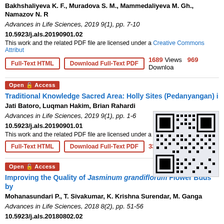Bakhshaliyeva K. F., Muradova S. M., Mammedaliyeva M. Gh., Namazov N. R.
Advances in Life Sciences, 2019 9(1), pp. 7-10
10.5923/j.als.20190901.02
This work and the related PDF file are licensed under a Creative Commons Attribut...
Full-Text HTML | Download Full-Text PDF | 1689 Views 969 Downloads
Open Access
Traditional Knowledge Sacred Area: Holly Sites (Pedanyangan) i...
Jati Batoro, Luqman Hakim, Brian Rahardi
Advances in Life Sciences, 2019 9(1), pp. 1-6
10.5923/j.als.20190901.01
This work and the related PDF file are licensed under a Cr...
Full-Text HTML | Download Full-Text PDF | 337... Views Downloads
[Figure (other): QR code for article link]
Open Access
Improving the Quality of Jasminum grandiflorum Flower Buds by...
Mohanasundari P., T. Sivakumar, K. Krishna Surendar, M. Ganga
Advances in Life Sciences, 2018 8(2), pp. 51-56
10.5923/j.als.20180802.02